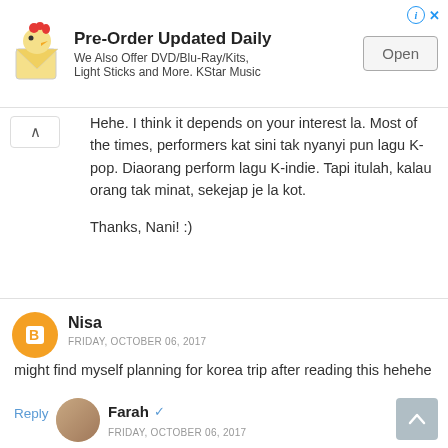[Figure (infographic): Advertisement banner: cartoon character with KStar Music logo, bold text 'Pre-Order Updated Daily', subtitle 'We Also Offer DVD/Blu-Ray/Kits, Light Sticks and More. KStar Music', and an 'Open' button on the right.]
Hehe. I think it depends on your interest la. Most of the times, performers kat sini tak nyanyi pun lagu K-pop. Diaorang perform lagu K-indie. Tapi itulah, kalau orang tak minat, sekejap je la kot.

Thanks, Nani! :)
Nisa
FRIDAY, OCTOBER 06, 2017
might find myself planning for korea trip after reading this hehehe
Reply
Farah
FRIDAY, OCTOBER 06, 2017